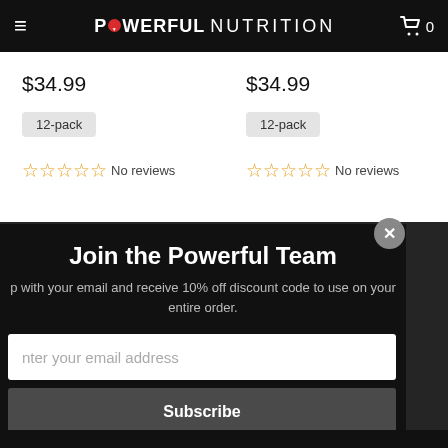Powerful Nutrition — navigation bar with hamburger menu and cart (0 items)
$34.99
$34.99
12-pack
12-pack
No reviews
No reviews
Join the Powerful Team
p with your email and receive 10% off discount code to use on your entire order.
nter your email address
Subscribe